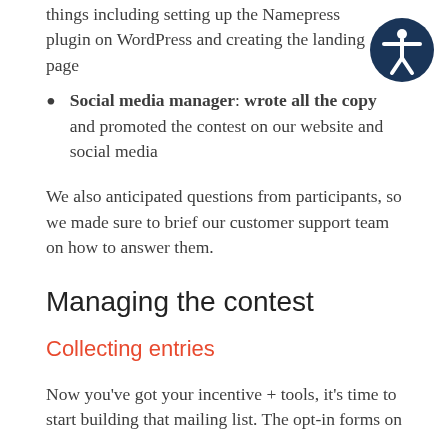things including setting up the Namepress plugin on WordPress and creating the landing page
Social media manager: wrote all the copy and promoted the contest on our website and social media
We also anticipated questions from participants, so we made sure to brief our customer support team on how to answer them.
Managing the contest
Collecting entries
Now you’ve got your incentive + tools, it’s time to start building that mailing list. The opt-in forms on